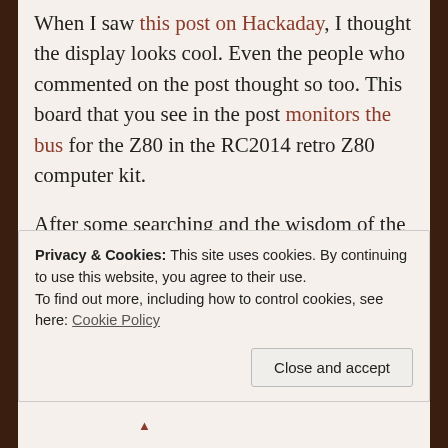When I saw this post on Hackaday, I thought the display looks cool. Even the people who commented on the post thought so too. This board that you see in the post monitors the bus for the Z80 in the RC2014 retro Z80 computer kit.
After some searching and the wisdom of the Hackaday crowd, I bought a few of them from eBay. It turns out that these displays are no longer being manufactured anymore. These used to be made by Texas Instruments, the TIL311 or DIS1417.
Privacy & Cookies: This site uses cookies. By continuing to use this website, you agree to their use.
To find out more, including how to control cookies, see here: Cookie Policy
Close and accept